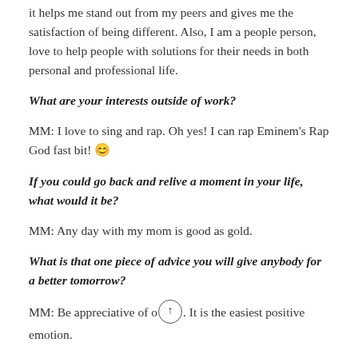it helps me stand out from my peers and gives me the satisfaction of being different. Also, I am a people person, love to help people with solutions for their needs in both personal and professional life.
What are your interests outside of work?
MM: I love to sing and rap. Oh yes! I can rap Eminem's Rap God fast bit! 😊
If you could go back and relive a moment in your life, what would it be?
MM: Any day with my mom is good as gold.
What is that one piece of advice you will give anybody for a better tomorrow?
MM: Be appreciative of others. It is the easiest positive emotion.